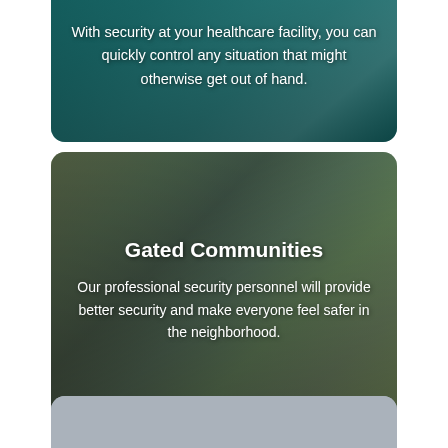[Figure (photo): Healthcare facility security card (partially visible at top) with dark teal/green overlay and white text about controlling situations]
With security at your healthcare facility, you can quickly control any situation that might otherwise get out of hand.
[Figure (photo): Gated Communities card with photo of a residential gated community, buildings and iron gate fence visible, with dark overlay]
Gated Communities
Our professional security personnel will provide better security and make everyone feel safer in the neighborhood.
[Figure (photo): Shopping Centers card with gray background, partially visible at bottom of page]
Shopping Centers
Our trained Security guards in a